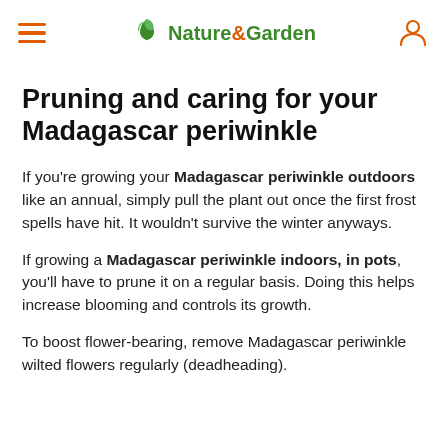Nature & Garden
Pruning and caring for your Madagascar periwinkle
If you're growing your Madagascar periwinkle outdoors like an annual, simply pull the plant out once the first frost spells have hit. It wouldn't survive the winter anyways.
If growing a Madagascar periwinkle indoors, in pots, you'll have to prune it on a regular basis. Doing this helps increase blooming and controls its growth.
To boost flower-bearing, remove Madagascar periwinkle wilted flowers regularly (deadheading).